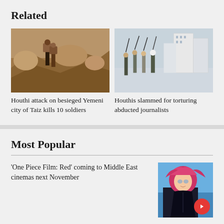Related
[Figure (photo): Two people carrying heavy loads on their backs while climbing rocky terrain in Yemen]
Houthi attack on besieged Yemeni city of Taiz kills 10 soldiers
[Figure (photo): Group of armed fighters holding rifles up in the air with buildings in the background]
Houthis slammed for torturing abducted journalists
Most Popular
‘One Piece Film: Red’ coming to Middle East cinemas next November
[Figure (photo): Anime character with pink hair from One Piece Film: Red with a red circular play button overlay]